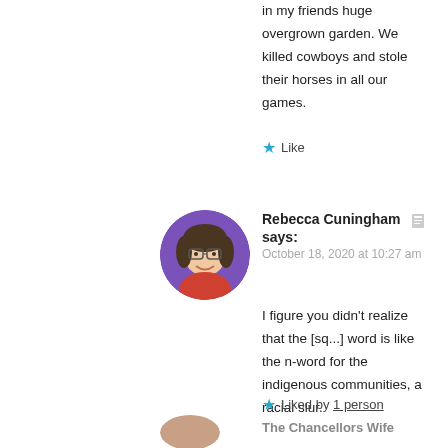in my friends huge overgrown garden. We killed cowboys and stole their horses in all our games.
Like
[Figure (photo): Circular avatar photo of Rebecca Cuningham, a woman smiling with glasses, set against a purple background.]
Rebecca Cuningham says:
October 18, 2020 at 10:27 am
I figure you didn't realize that the [sq...] word is like the n-word for the indigenous communities, a racial slur.
Liked by 1 person
The Chancellors Wife